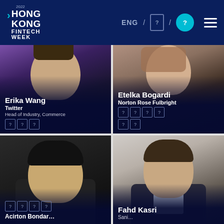2022 Hong Kong Fintech Week | ENG navigation bar
[Figure (photo): Photo of Erika Wang smiling, wearing dark clothing, colorful background]
Erika Wang
Twitter
Head of Industry, Commerce
[Figure (photo): Photo of Etelka Bogardi, wearing dark blazer, light background]
Etelka Bogardi
Norton Rose Fulbright
[Figure (photo): Photo of Asian man in suit, dark background]
[Figure (photo): Photo of Fahd Kasri smiling, light background]
Fahd Kasri